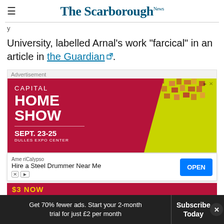The Scarborough News
University, labelled Arnal's work “farcical” in an article in the Guardian.
[Figure (other): Advertisement banner for Capital Home Show, Sept. 23-25, Dulles Expo Center, with dark red background and yellow-green mosaic design]
[Figure (other): Advertisement banner: AmeriCalypso - Hire a Steel Drummer Near Me, with OPEN button]
Get 70% fewer ads. Start your 2-month trial for just £2 per month
Subscribe Today